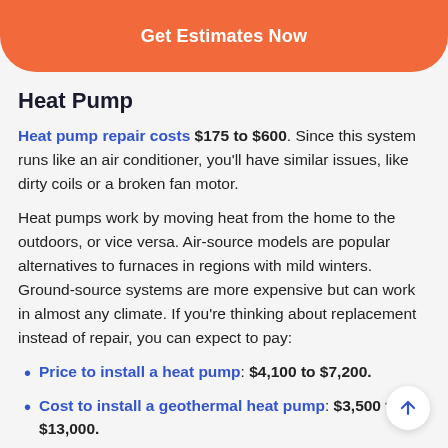[Figure (other): Orange/coral CTA button overlay with text 'Get Estimates Now' and faded background text about boilers and heating systems]
Heat Pump
Heat pump repair costs $175 to $600. Since this system runs like an air conditioner, you'll have similar issues, like dirty coils or a broken fan motor.
Heat pumps work by moving heat from the home to the outdoors, or vice versa. Air-source models are popular alternatives to furnaces in regions with mild winters. Ground-source systems are more expensive but can work in almost any climate. If you're thinking about replacement instead of repair, you can expect to pay:
Price to install a heat pump: $4,100 to $7,200.
Cost to install a geothermal heat pump: $3,500 to $13,000.